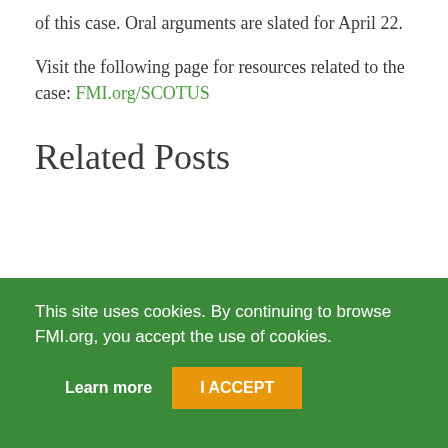of this case. Oral arguments are slated for April 22.
Visit the following page for resources related to the case: FMI.org/SCOTUS
Related Posts
This site uses cookies. By continuing to browse FMI.org, you accept the use of cookies.
Learn more   I ACCEPT